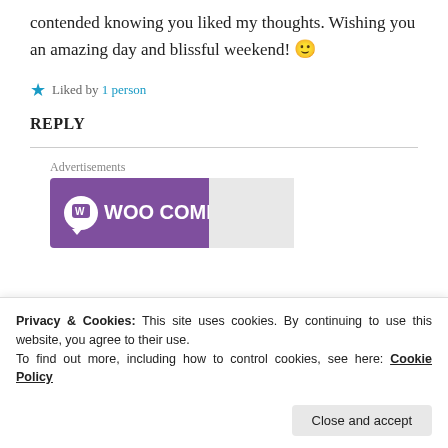contended knowing you liked my thoughts. Wishing you an amazing day and blissful weekend! 🙂
★ Liked by 1 person
REPLY
[Figure (logo): WooCommerce advertisement banner with purple background and WooCommerce logo in white]
Privacy & Cookies: This site uses cookies. By continuing to use this website, you agree to their use. To find out more, including how to control cookies, see here: Cookie Policy
Close and accept